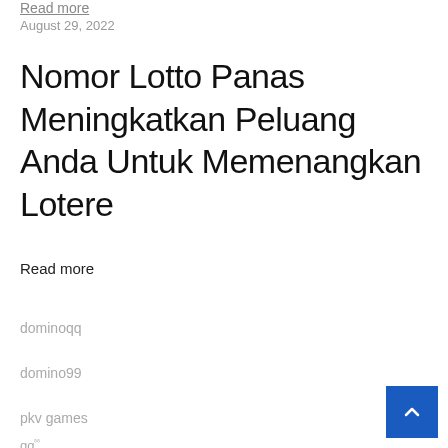Read more
August 29, 2022
Nomor Lotto Panas Meningkatkan Peluang Anda Untuk Memenangkan Lotere
Read more
dominoqq
domino99
pkv games
qq